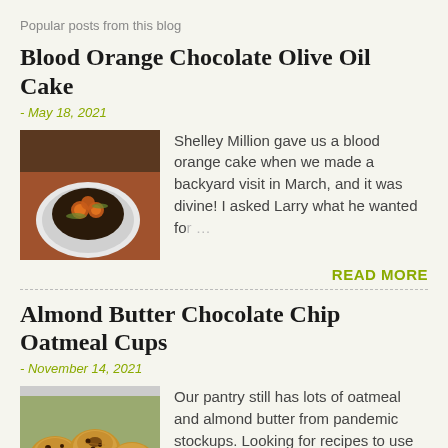Popular posts from this blog
Blood Orange Chocolate Olive Oil Cake
- May 18, 2021
[Figure (photo): A blood orange chocolate cake on a decorative plate on a table with tea cups and glasses]
Shelley Million gave us a blood orange cake when we made a backyard visit in March, and it was divine! I asked Larry what he wanted fo…
READ MORE
Almond Butter Chocolate Chip Oatmeal Cups
- November 14, 2021
[Figure (photo): Oatmeal cups on a plate, golden brown with chocolate chips]
Our pantry still has lots of oatmeal and almond butter from pandemic stockups. Looking for recipes to use up some of these ingredient…